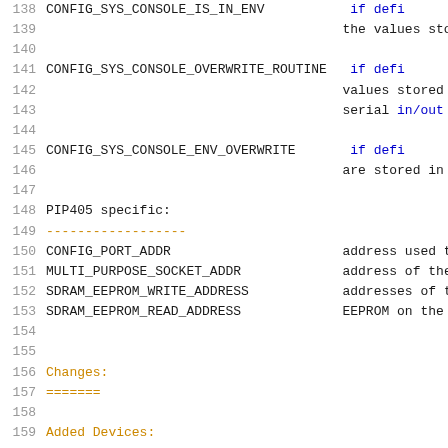138  CONFIG_SYS_CONSOLE_IS_IN_ENV    if defi
139                                   the values store
140
141  CONFIG_SYS_CONSOLE_OVERWRITE_ROUTINE  if defi
142                                   values stored i
143                                   serial in/out p
144
145  CONFIG_SYS_CONSOLE_ENV_OVERWRITE  if defi
146                                   are stored in t
147
148  PIP405 specific:
149  ------------------
150  CONFIG_PORT_ADDR    address used to
151  MULTI_PURPOSE_SOCKET_ADDR   address of the m
152  SDRAM_EEPROM_WRITE_ADDRESS  addresses of the
153  SDRAM_EEPROM_READ_ADDRESS   EEPROM on the S
154
155
156  Changes:
157  =======
158
159  Added Devices: